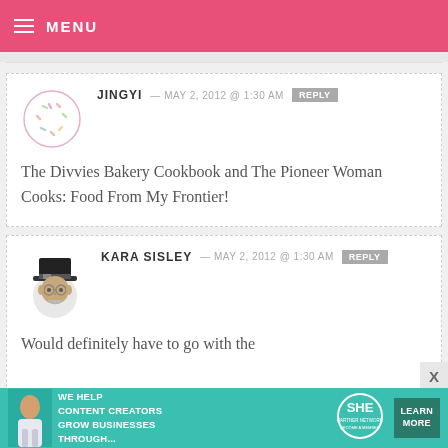MENU
JINGYI — MAY 2, 2012 @ 1:30 AM  REPLY
The Divvies Bakery Cookbook and The Pioneer Woman Cooks: Food From My Frontier!
KARA SISLEY — MAY 2, 2012 @ 1:30 AM  REPLY
Would definitely have to go with the
[Figure (infographic): SHE partner network advertisement banner: WE HELP CONTENT CREATORS GROW BUSINESSES THROUGH... with LEARN MORE button]